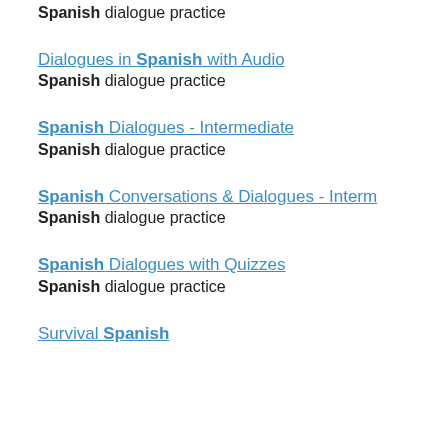Spanish dialogue practice
Dialogues in Spanish with Audio
Spanish dialogue practice
Spanish Dialogues - Intermediate
Spanish dialogue practice
Spanish Conversations & Dialogues - Interm
Spanish dialogue practice
Spanish Dialogues with Quizzes
Spanish dialogue practice
Survival Spanish